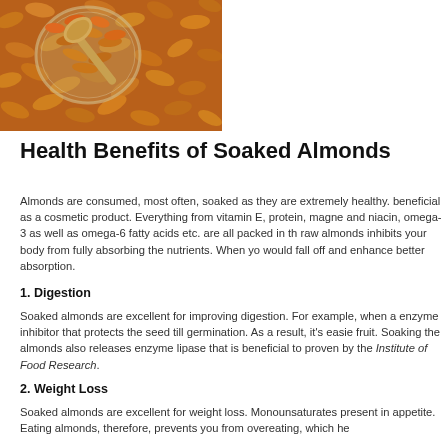[Figure (photo): Overhead photo of raw almonds scattered on a surface with a glass bowl of almonds and a wooden spoon]
Health Benefits of Soaked Almonds
Almonds are consumed, most often, soaked as they are extremely healthy. beneficial as a cosmetic product. Everything from vitamin E, protein, magne and niacin, omega-3 as well as omega-6 fatty acids etc. are all packed in th raw almonds inhibits your body from fully absorbing the nutrients. When yo would fall off and enhance better absorption.
1. Digestion
Soaked almonds are excellent for improving digestion. For example, when a enzyme inhibitor that protects the seed till germination. As a result, it's easie fruit. Soaking the almonds also releases enzyme lipase that is beneficial to proven by the Institute of Food Research.
2. Weight Loss
Soaked almonds are excellent for weight loss. Monounsaturates present in appetite. Eating almonds, therefore, prevents you from overeating, which he